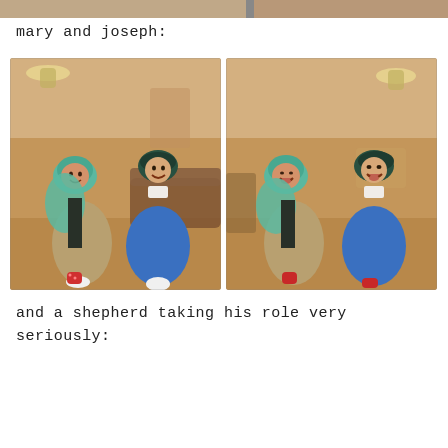[Figure (photo): Top strip showing partial photo of children in costume from previous image]
mary and joseph:
[Figure (photo): Two photos side by side of two young children dressed as Mary and Joseph in biblical nativity costumes — teal/green head coverings and blue and beige robes — smiling and laughing indoors in what appears to be a lobby or common room]
and a shepherd taking his role very
seriously: